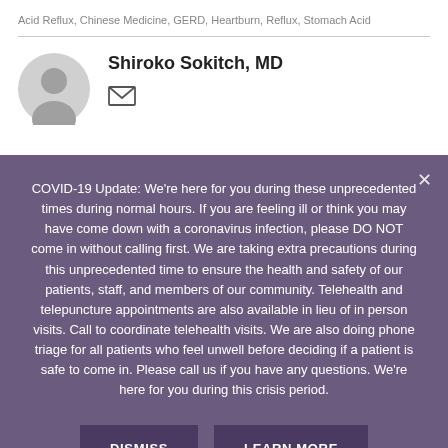Acid Reflux, Chinese Medicine, GERD, Heartburn, Reflux, Stomach Acid
Shiroko Sokitch, MD
COVID-19 Update: We're here for you during these unprecedented times during normal hours. If you are feeling ill or think you may have come down with a coronavirus infection, please DO NOT come in without calling first. We are taking extra precautions during this unprecedented time to ensure the health and safety of our patients, staff, and members of our community. Telehealth and telepuncture appointments are also available in lieu of in person visits. Call to coordinate telehealth visits. We are also doing phone triage for all patients who feel unwell before deciding if a patient is safe to come in. Please call us if you have any questions. We're here for you during this crisis period.